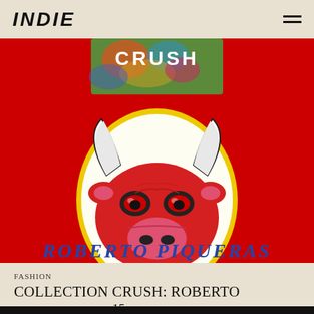INDIE
[Figure (photo): Red background image featuring the Chicago Bulls logo (a bull's head) with a neon yellow/white glow outline in the center. Above the logo is a person wearing a colorful tie-dye shirt with 'CRUSH' text in white. Below the logo in bold blue italic text reads 'ROBERTO PIQUERAS'.]
FASHION
COLLECTION CRUSH: ROBERTO PIQUERAS S/S15